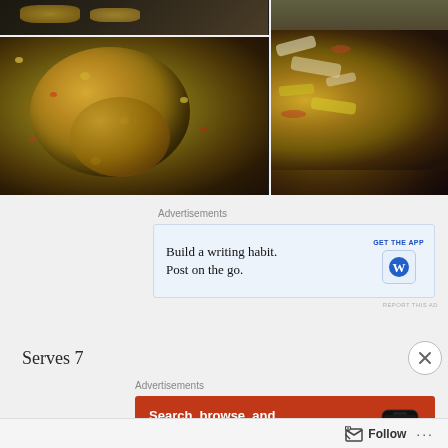[Figure (photo): Food photography collage: top-left small image of baked items on tray, bottom-left large image of round baked pizza/flatbread with cheese and toppings on parchment paper, right large close-up of melted cheese pizza toppings]
Advertisements
[Figure (screenshot): Advertisement: 'Build a writing habit. Post on the go.' with GET THE APP button and WordPress logo]
REPORT THIS AD
Serves 7
Advertisements
[Figure (screenshot): DuckDuckGo advertisement: 'Search, browse, and email with more privacy. All in One Free App' on orange/red background with phone illustration showing DuckDuckGo logo]
Follow